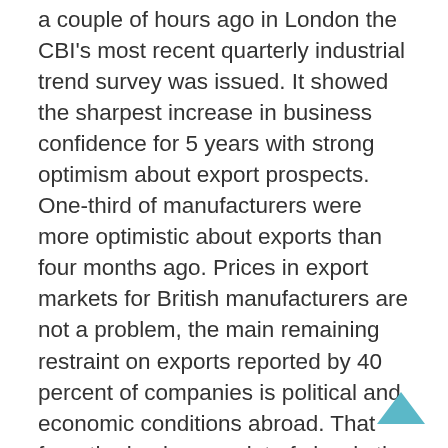a couple of hours ago in London the CBI's most recent quarterly industrial trend survey was issued. It showed the sharpest increase in business confidence for 5 years with strong optimism about export prospects. One-third of manufacturers were more optimistic about exports than four months ago. Prices in export markets for British manufacturers are not a problem, the main remaining restraint on exports reported by 40 percent of companies is political and economic conditions abroad. That from the business point of view is the context for this visit, the government in partnership with industry trying to create more favourable conditions for British exports and investment. We have been asking for more government support for exporters for some time and now we are getting it. The business group is very chipper as a result and for a number of them